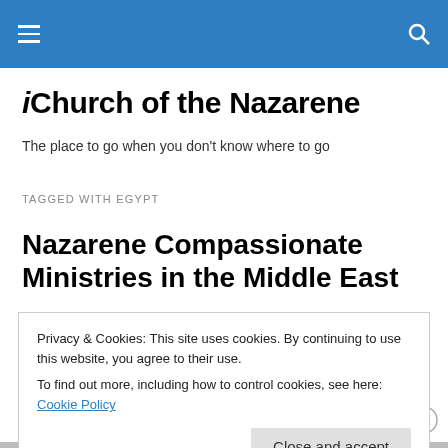iChurch of the Nazarene (navigation header bar)
iChurch of the Nazarene
The place to go when you don't know where to go
TAGGED WITH EGYPT
Nazarene Compassionate Ministries in the Middle East
Privacy & Cookies: This site uses cookies. By continuing to use this website, you agree to their use.
To find out more, including how to control cookies, see here: Cookie Policy